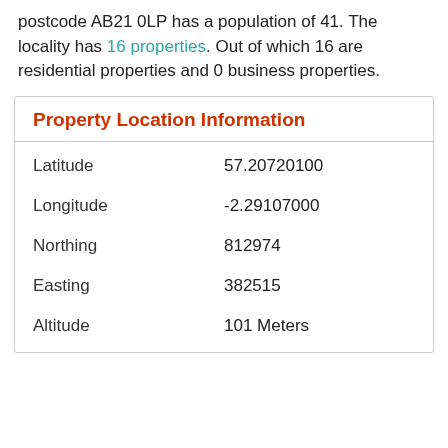postcode AB21 0LP has a population of 41. The locality has 16 properties. Out of which 16 are residential properties and 0 business properties.
| Property | Value |
| --- | --- |
| Latitude | 57.20720100 |
| Longitude | -2.29107000 |
| Northing | 812974 |
| Easting | 382515 |
| Altitude | 101 Meters |